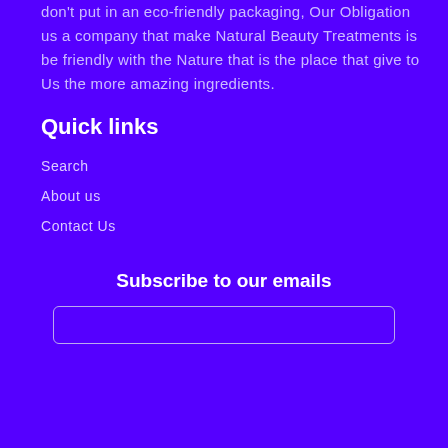don't put in an eco-friendly packaging, Our Obligation us a company that make Natural Beauty Treatments is be friendly with the Nature that is the place that give to Us the more amazing ingredients.
Quick links
Search
About us
Contact Us
Subscribe to our emails